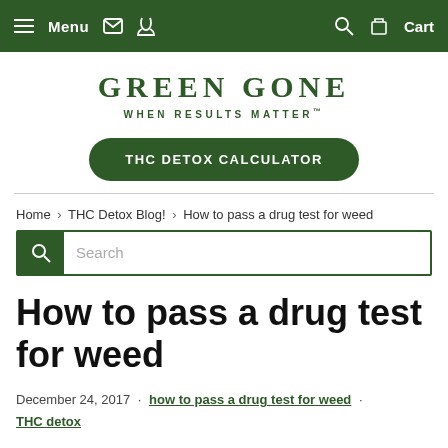Menu | [email icon] | [phone icon] | [search icon] | [cart icon] Cart
GREEN GONE
WHEN RESULTS MATTER™
THC DETOX CALCULATOR
Home › THC Detox Blog! › How to pass a drug test for weed
Search
How to pass a drug test for weed
December 24, 2017 · how to pass a drug test for weed · THC detox